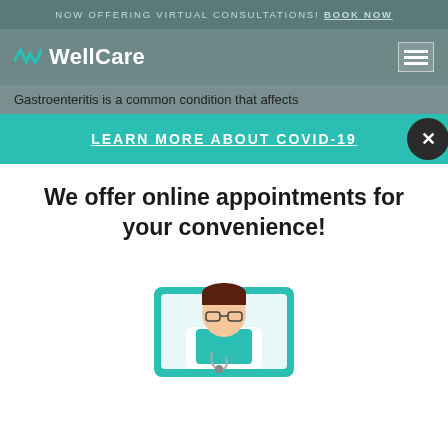NOW OFFERING VIRTUAL CONSULTATIONS! BOOK NOW
[Figure (logo): WellCare logo with W icon in teal and white text]
Gastroenteritis is a common condition that affects
LEARN MORE ABOUT COVID-19
We offer online appointments for your convenience!
[Figure (illustration): Doctor in white coat with stethoscope shown on a teal video screen, cartoon style]